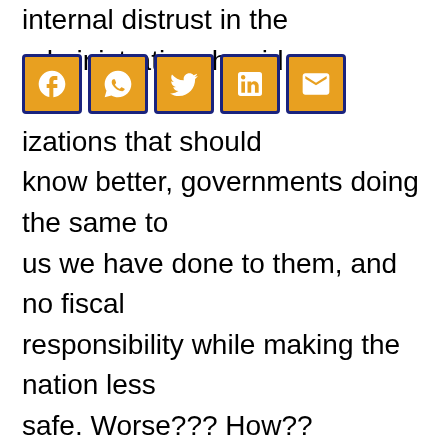internal distrust in the administration, horrid conduct by even organizations that should know better, governments doing the same to us we have done to them, and no fiscal responsibility while making the nation less safe. Worse??? How??
[Figure (other): Social media sharing icons: Facebook, WhatsApp, Twitter, LinkedIn, Email]
One final thought, given Benghazi happened, wouldn't you now have a priority to develop something that could rapidly evacuate a diplomatic mission? Basically, an armored VTOL aircraft with 1,000 mile range and decent altitude would do it. How much you want to bet this happens again and we still